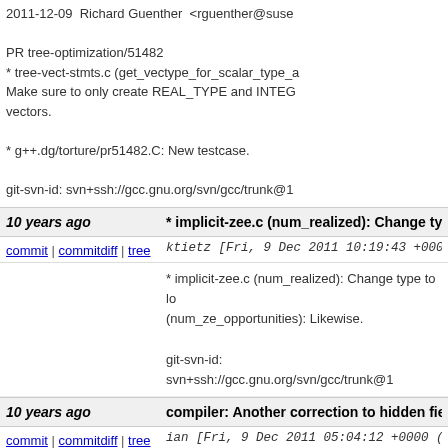2011-12-09  Richard Guenther  <rguenther@suse...

PR tree-optimization/51482
* tree-vect-stmts.c (get_vectype_for_scalar_type_...
Make sure to only create REAL_TYPE and INTEG...
vectors.

* g++.dg/torture/pr51482.C: New testcase.

git-svn-id: svn+ssh://gcc.gnu.org/svn/gcc/trunk@1...
10 years ago    * implicit-zee.c (num_realized): Change type to...
commit | commitdiff | tree    ktietz [Fri, 9 Dec 2011 10:19:43 +0000 (...
* implicit-zee.c (num_realized): Change type to lo...
(num_ze_opportunities): Likewise.

git-svn-id: svn+ssh://gcc.gnu.org/svn/gcc/trunk@1...
10 years ago    compiler: Another correction to hidden fields i...
commit | commitdiff | tree    ian [Fri, 9 Dec 2011 05:04:12 +0000 (05:...
compiler: Another correction to hidden fields in co...

git-svn-id: svn+ssh://gcc.gnu.org/svn/gcc/trunk@1...